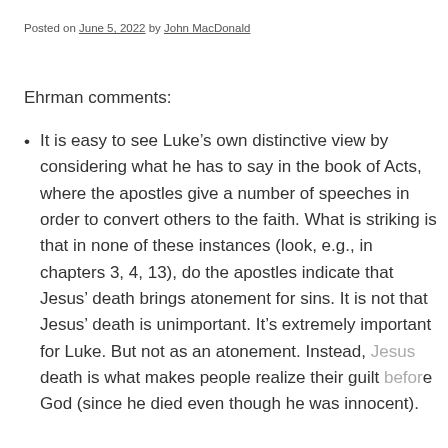Posted on June 5, 2022 by John MacDonald
Ehrman comments:
It is easy to see Luke’s own distinctive view by considering what he has to say in the book of Acts, where the apostles give a number of speeches in order to convert others to the faith. What is striking is that in none of these instances (look, e.g., in chapters 3, 4, 13), do the apostles indicate that Jesus’ death brings atonement for sins. It is not that Jesus’ death is unimportant. It’s extremely important for Luke. But not as an atonement. Instead, Jesus death is what makes people realize their guilt before God (since he died even though he was innocent).